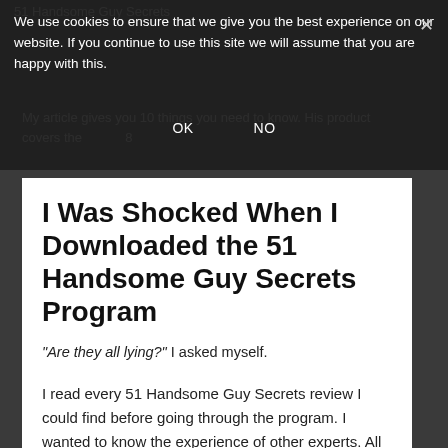51 Handsome Guy Secrets
We use cookies to ensure that we give you the best experience on our website. If you continue to use this site we will assume that you are happy with this.
OK    NO
My article gives you 10 things you need to know. His product covers the 8
I Was Shocked When I Downloaded the 51 Handsome Guy Secrets Program
“Are they all lying?” I asked myself.
I read every 51 Handsome Guy Secrets review I could find before going through the program. I wanted to know the experience of other experts. All but one reviewer talked about what they've learned from the eBook.